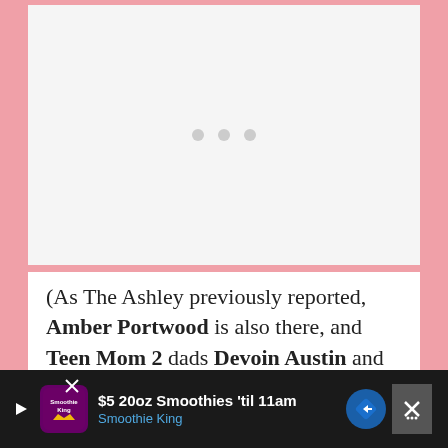[Figure (photo): Image placeholder with three gray dots indicating loading or missing image, on a light gray background]
(As The Ashley previously reported, Amber Portwood is also there, and Teen Mom 2 dads Devoin Austin and Bar Smith are also taking part in the Retreat festivities
[Figure (other): Advertisement bar at bottom: Smoothie King ad showing '$5 20oz Smoothies til 11am' with navigation icon and close button]